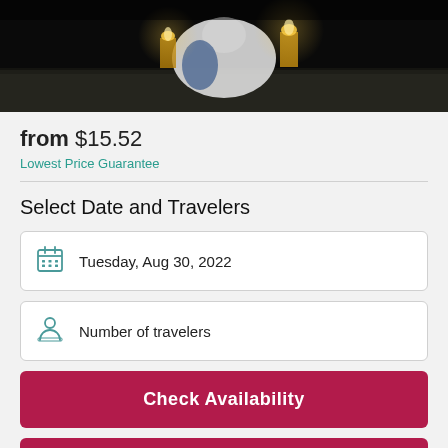[Figure (photo): Dark nighttime photo of a person sitting on a ledge wrapped in white fabric or clothing, with glowing lanterns or candles in the background]
from $15.52
Lowest Price Guarantee
Select Date and Travelers
Tuesday, Aug 30, 2022
Number of travelers
Check Availability
Check Availability